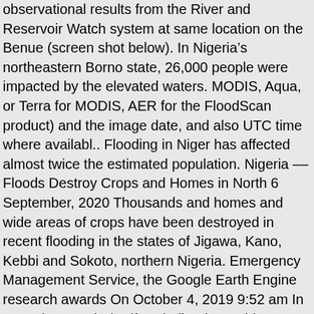observational results from the River and Reservoir Watch system at same location on the Benue (screen shot below). In Nigeria’s northeastern Borno state, 26,000 people were impacted by the elevated waters. MODIS, Aqua, or Terra for MODIS, AER for the FloodScan product) and the image date, and also UTC time where availabl.. Flooding in Niger has affected almost twice the estimated population. Nigeria – Floods Destroy Crops and Homes in North 6 September, 2020 Thousands and homes and wide areas of crops have been destroyed in recent flooding in the states of Jigawa, Kano, Kebbi and Sokoto, northern Nigeria. Emergency Management Service, the Google Earth Engine research awards On October 4, 2019 9:52 am In News by Lawal Sherifat Kindly Share This Story: By Greatman Adiela Owhor Flooding is currently an important topic of discussion in Nigeria. This is the second largest flood observed at this location, 1998-present. Since then the death toll has increased to 18 in Niger state, according to media reports quoting Niger State Emergency Management Agency sources. International License and